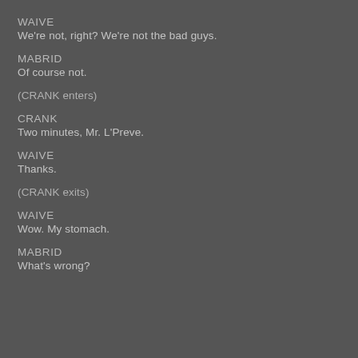WAIVE
We're not, right? We're not the bad guys.
MABRID
Of course not.
(CRANK enters)
CRANK
Two minutes, Mr. L'Preve.
WAIVE
Thanks.
(CRANK exits)
WAIVE
Wow. My stomach.
MABRID
What's wrong?